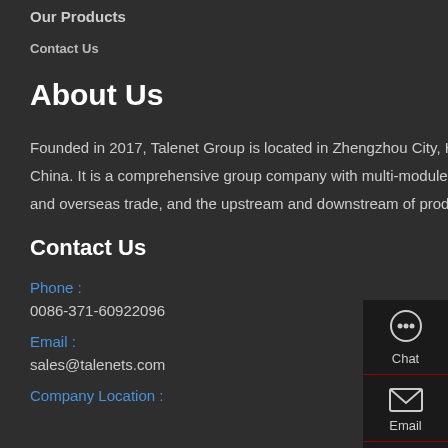Our Products
Contact Us
About Us
Founded in 2017, Talenet Group is located in Zhengzhou City, Henan Province, which is known as the "heart of railway" in China. It is a comprehensive group company with multi-module operation integrating e-commerce operation, domestic and overseas trade, and the upstream and downstream of product supply chain.
Contact Us
Phone :
0086-371-60922096
Email :
sales@talenets.com
Company Location :
[Figure (screenshot): Right sidebar with Chat, Email, Contact, and Top navigation icons on dark background]